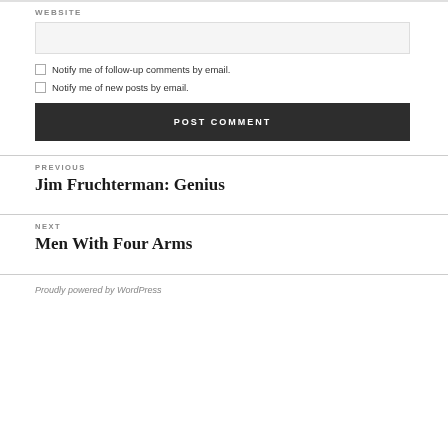WEBSITE
Notify me of follow-up comments by email.
Notify me of new posts by email.
POST COMMENT
PREVIOUS
Jim Fruchterman: Genius
NEXT
Men With Four Arms
Proudly powered by WordPress